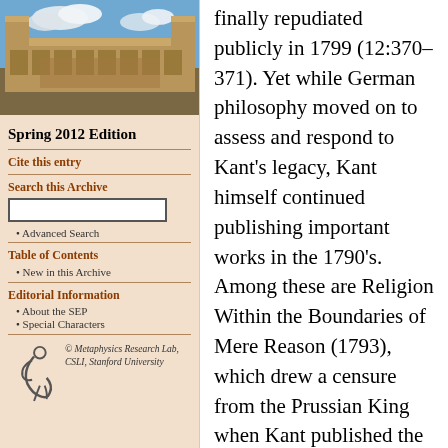[Figure (photo): Photograph of a historic university building (sandstone architecture) with blue sky and clouds]
Spring 2012 Edition
Cite this entry
Search this Archive
Advanced Search
Table of Contents
New in this Archive
Editorial Information
About the SEP
Special Characters
[Figure (logo): Metaphysics Research Lab, CSLI, Stanford University logo with stylized figure]
© Metaphysics Research Lab, CSLI, Stanford University
finally repudiated publicly in 1799 (12:370–371). Yet while German philosophy moved on to assess and respond to Kant's legacy, Kant himself continued publishing important works in the 1790's. Among these are Religion Within the Boundaries of Mere Reason (1793), which drew a censure from the Prussian King when Kant published the book after its second essay was rejected by the censor; The Conflict of the Faculties (1798), a collection of essays inspired by Kant's troubles with the censor and dealing with the relationship between the philosophical and theological faculties of the